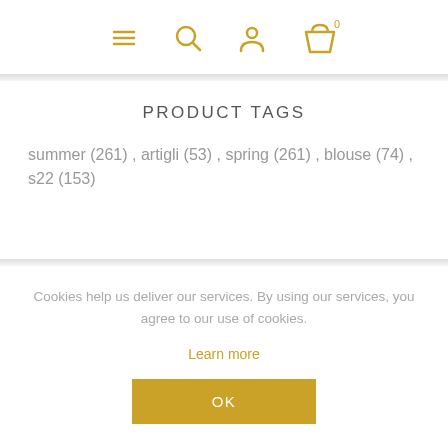Navigation icons: menu, search, account, cart (0)
PRODUCT TAGS
summer (261) , artigli (53) , spring (261) , blouse (74) , s22 (153)
Cookies help us deliver our services. By using our services, you agree to our use of cookies.
Learn more
OK